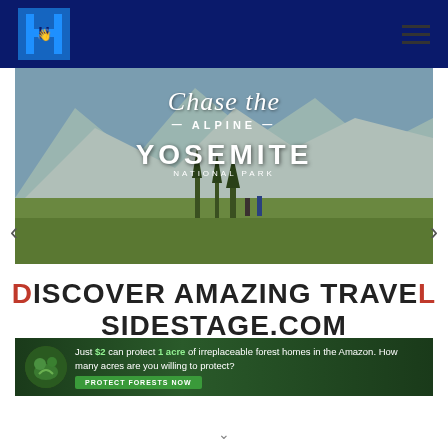Navigation bar with logo H and hamburger menu
[Figure (photo): Yosemite National Park scenic photo with overlay text: Chase the ALPINE YOSEMITE NATIONAL PARK]
DISCOVER AMAZING TRAVEL SIDESTAGE.COM
[Figure (infographic): Amazon forest protection advertisement: Just $2 can protect 1 acre of irreplaceable forest homes in the Amazon. How many acres are you willing to protect? PROTECT FORESTS NOW]